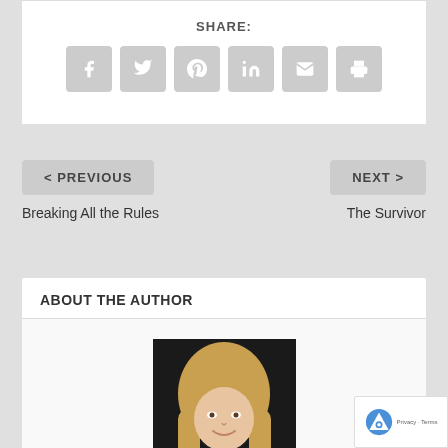SHARE:
[Figure (infographic): Social share icons: Facebook, Twitter, Pinterest, LinkedIn, Email, Print — all gray rounded square buttons with white icons]
< PREVIOUS
NEXT >
Breaking All the Rules
The Survivor
ABOUT THE AUTHOR
[Figure (photo): Headshot of a woman with long blonde hair, smiling, wearing a black top and necklace, against a dark background]
K. Webster